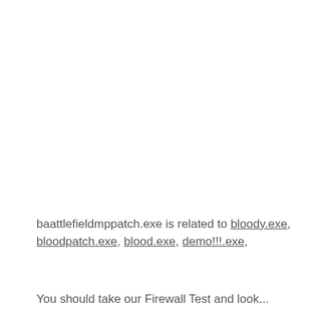baattlefieldmppatch.exe is related to bloody.exe, bloodpatch.exe, blood.exe, demo!!!.exe,
You should take our Firewall Test and look...